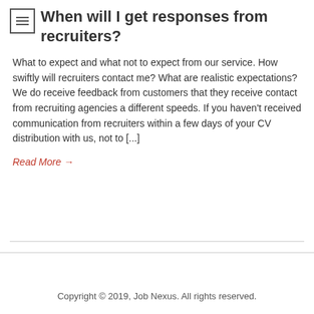When will I get responses from recruiters?
What to expect and what not to expect from our service. How swiftly will recruiters contact me? What are realistic expectations? We do receive feedback from customers that they receive contact from recruiting agencies a different speeds. If you haven't received communication from recruiters within a few days of your CV distribution with us, not to [...]
Read More →
Copyright © 2019, Job Nexus. All rights reserved.